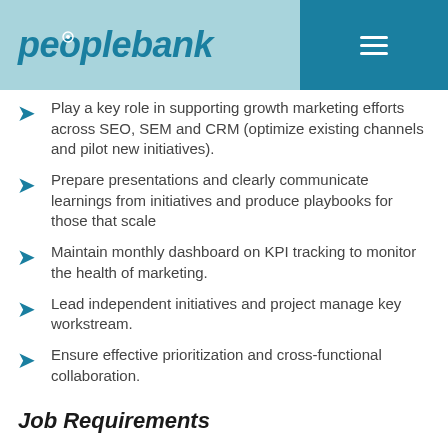peoplebank
Play a key role in supporting growth marketing efforts across SEO, SEM and CRM (optimize existing channels and pilot new initiatives).
Prepare presentations and clearly communicate learnings from initiatives and produce playbooks for those that scale
Maintain monthly dashboard on KPI tracking to monitor the health of marketing.
Lead independent initiatives and project manage key workstream.
Ensure effective prioritization and cross-functional collaboration.
Job Requirements